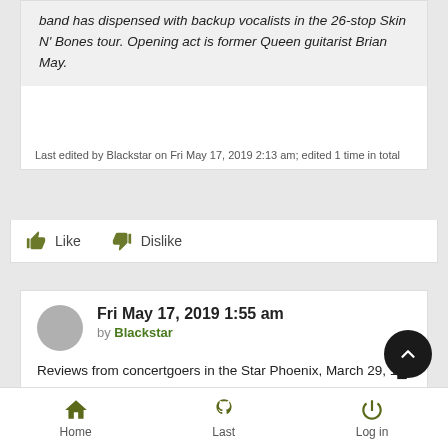band has dispensed with backup vocalists in the 26-stop Skin N' Bones tour. Opening act is former Queen guitarist Brian May.
Last edited by Blackstar on Fri May 17, 2019 2:13 am; edited 1 time in total
Like  Dislike
Fri May 17, 2019 1:55 am
by Blackstar
Reviews from concertgoers in the Star Phoenix, March 29, 1